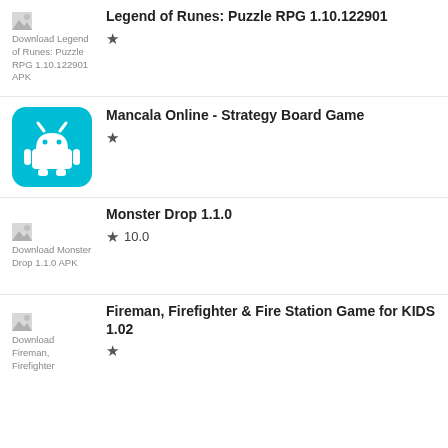Legend of Runes: Puzzle RPG 1.10.122901 — star rating
Mancala Online - Strategy Board Game — star rating
Monster Drop 1.1.0 — star 10.0
Fireman, Firefighter & Fire Station Game for KIDS 1.02 — star rating